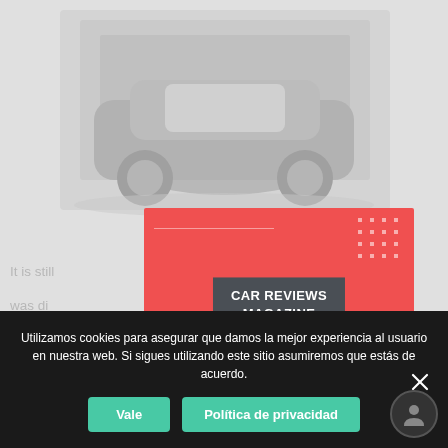[Figure (photo): Background article page with a faded/light gray car or vehicle photo at the top, partially visible behind an advertisement overlay]
[Figure (illustration): Red advertisement banner for 'CAR REVIEWS MAGAZINE' with white bold text on a dark gray label, decorative dot grid, chevron arrows, and geometric lines on a coral/red background]
It is still... driver... was di... ork... Police... ge... out of... ral...
Utilizamos cookies para asegurar que damos la mejor experiencia al usuario en nuestra web. Si sigues utilizando este sitio asumiremos que estás de acuerdo.
Vale
Política de privacidad